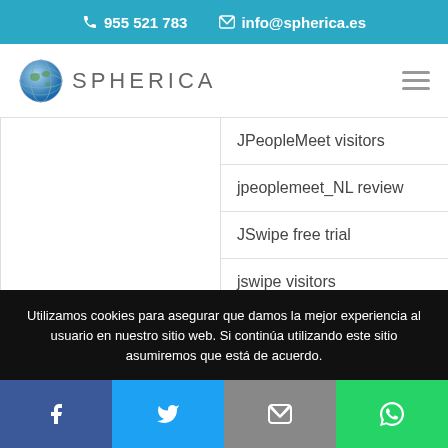📞 955 521 783   ✉ info@spherica.es
[Figure (logo): Spherica logo with globe icon and text SPHERICA]
JPeopleMeet visitors
jpeoplemeet_NL review
JSwipe free trial
jswipe visitors
jswipe_NL review
kadinlarin-secimi-arkadas Siteleri
Utilizamos cookies para asegurar que damos la mejor experiencia al usuario en nuestro sitio web. Si continúa utilizando este sitio asumiremos que está de acuerdo.
Facebook | Twitter | Email | WhatsApp